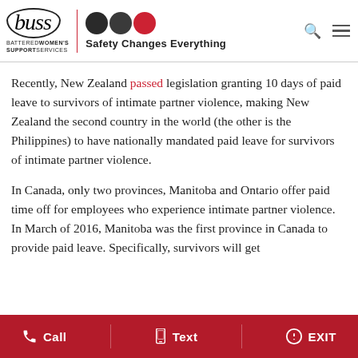[Figure (logo): Battered Women's Support Services (buss) logo with three circles (two dark, one red) and tagline 'Safety Changes Everything']
Recently, New Zealand passed legislation granting 10 days of paid leave to survivors of intimate partner violence, making New Zealand the second country in the world (the other is the Philippines) to have nationally mandated paid leave for survivors of intimate partner violence.
In Canada, only two provinces, Manitoba and Ontario offer paid time off for employees who experience intimate partner violence. In March of 2016, Manitoba was the first province in Canada to provide paid leave. Specifically, survivors will get
Call   Text   EXIT